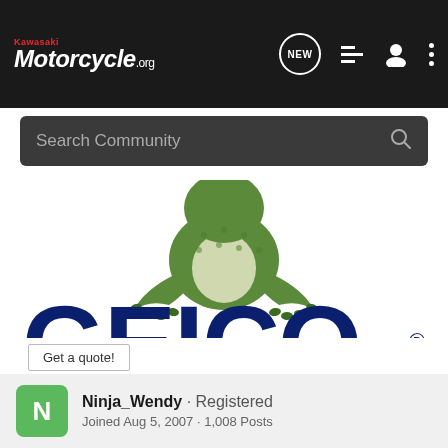Kawasaki Motorcycle .org
Search Community
[Figure (logo): GEICO insurance advertisement featuring a green gecko lizard leaning over the GEICO logo text in dark blue bold letters with registered trademark symbol]
Get a quote!
Ninja_Wendy · Registered
Joined Aug 5, 2007 · 1,008 Posts